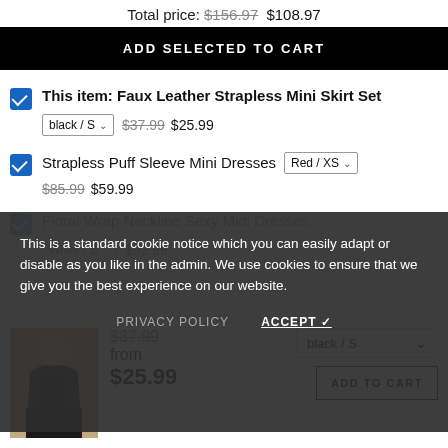Total price: $156.97 $108.97
ADD SELECTED TO CART
This item: Faux Leather Strapless Mini Skirt Set — black / S — $37.99 $25.99
Strapless Puff Sleeve Mini Dresses — Red / XS — $85.99 $59.99
Floral Wrap Neckline Sexy Midi Dresses — White / S — $92.99
This is a standard cookie notice which you can easily adapt or disable as you like in the admin. We use cookies to ensure that we give you the best experience on our website.
PRIVACY POLICY   ACCEPT ✓
[Figure (photo): Product thumbnail of a black faux leather strapless mini skirt set worn by a model]
$37.99 from $25.99
black / S — ADD TO CART